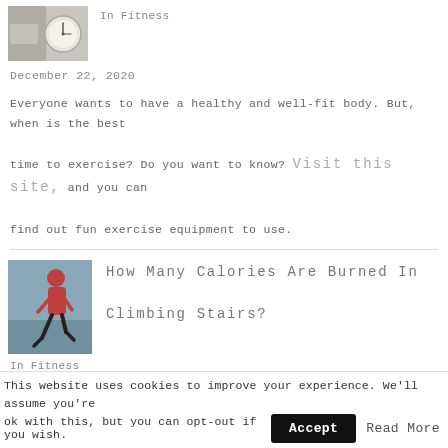[Figure (photo): Thumbnail image of a clock on a surface, fitness related]
In Fitness
December 22, 2020
Everyone wants to have a healthy and well-fit body. But, when is the best time to exercise? Do you want to know? Visit this site, and you can find out fun exercise equipment to use.
[Figure (photo): Thumbnail image of a woman in red top climbing stairs or running]
How Many Calories Are Burned In Climbing Stairs?
In Fitness
This website uses cookies to improve your experience. We'll assume you're ok with this, but you can opt-out if you wish.